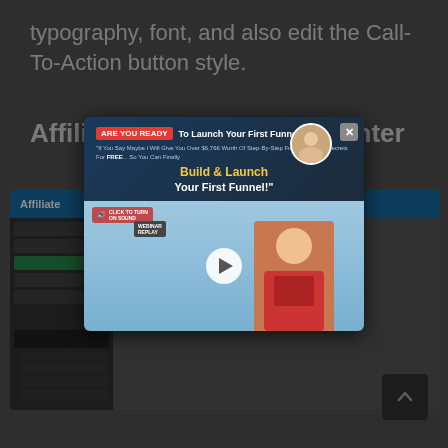typography, font, and also edit the Call-To-Action button style.
Affiliate Administration Center
[Figure (screenshot): Screenshot of Affiliate Administration Center interface showing sidebar navigation and affiliate ranking list with Runner Up Affiliate, Third Affiliate, and Fourth Affiliate entries]
[Figure (screenshot): Modal popup overlay with 'ARE YOU READY To Launch Your First Funnel?' banner, quote text, 'Build & Launch Your First Funnel!' headline, a video player with play button showing a person in red shirt, and a sound toggle button]